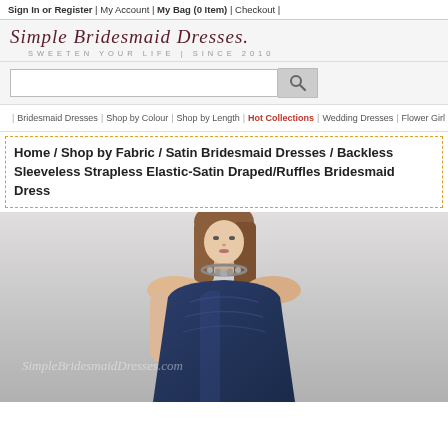Sign In or Register | My Account | My Bag (0 Item) | Checkout |
[Figure (logo): Simple Bridesmaid Dresses logo with italic script text and tagline SWEETEN YOUR LIFE | SINCE 2010]
[Figure (screenshot): Search bar with text input and search magnifying glass button]
Home icon | Bridesmaid Dresses | Shop by Colour | Shop by Length | Hot Collections | Wedding Dresses | Flower Girl Dresses
Home / Shop by Fabric / Satin Bridesmaid Dresses / Backless Sleeveless Strapless Elastic-Satin Draped/Ruffles Bridesmaid Dress
[Figure (photo): Model wearing a navy blue strapless satin bridesmaid dress with ruched bodice and a crystal/beaded necklace, with SimpleBridesmaidDresses.com watermark]